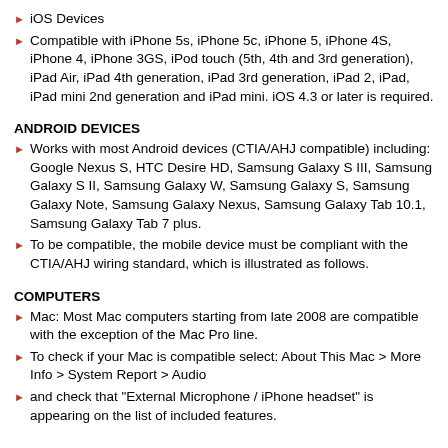iOS Devices
Compatible with iPhone 5s, iPhone 5c, iPhone 5, iPhone 4S, iPhone 4, iPhone 3GS, iPod touch (5th, 4th and 3rd generation), iPad Air, iPad 4th generation, iPad 3rd generation, iPad 2, iPad, iPad mini 2nd generation and iPad mini. iOS 4.3 or later is required.
ANDROID DEVICES
Works with most Android devices (CTIA/AHJ compatible) including: Google Nexus S, HTC Desire HD, Samsung Galaxy S III, Samsung Galaxy S II, Samsung Galaxy W, Samsung Galaxy S, Samsung Galaxy Note, Samsung Galaxy Nexus, Samsung Galaxy Tab 10.1, Samsung Galaxy Tab 7 plus.
To be compatible, the mobile device must be compliant with the CTIA/AHJ wiring standard, which is illustrated as follows.
COMPUTERS
Mac: Most Mac computers starting from late 2008 are compatible with the exception of the Mac Pro line.
To check if your Mac is compatible select: About This Mac > More Info > System Report > Audio
and check that "External Microphone / iPhone headset" is appearing on the list of included features.